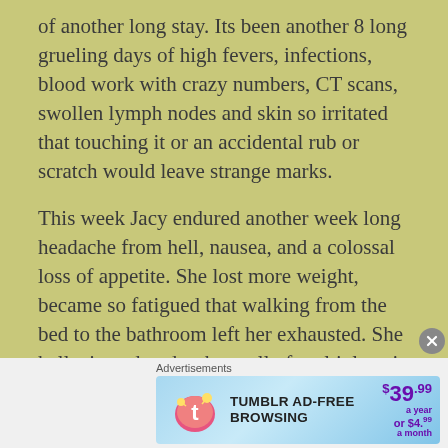of another long stay. Its been another 8 long grueling days of high fevers, infections, blood work with crazy numbers, CT scans, swollen lymph nodes and skin so irritated that touching it or an accidental rub or scratch would leave strange marks.
This week Jacy endured another week long headache from hell, nausea, and a colossal loss of appetite. She lost more weight, became so fatigued that walking from the bed to the bathroom left her exhausted. She hallucinated under the spell of multiple pain medications and tried her best not to throw up when anyone was around.  The face of
Advertisements
[Figure (infographic): Tumblr Ad-Free Browsing advertisement banner: $39.99 a year or $4.99 a month]